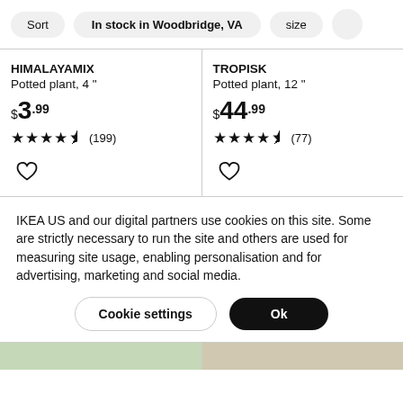Sort | In stock in Woodbridge, VA | size
HIMALAYAMIX
Potted plant, 4 "
$3.99
★★★★½ (199)
TROPISK
Potted plant, 12 "
$44.99
★★★★½ (77)
IKEA US and our digital partners use cookies on this site. Some are strictly necessary to run the site and others are used for measuring site usage, enabling personalisation and for advertising, marketing and social media.
Cookie settings
Ok